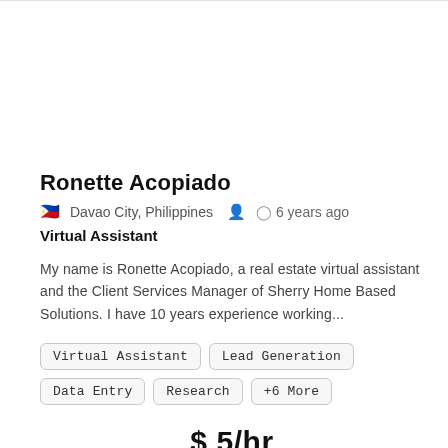Ronette Acopiado
🇵🇭 Davao City, Philippines  👤  🕐 6 years ago
Virtual Assistant
My name is Ronette Acopiado, a real estate virtual assistant and the Client Services Manager of Sherry Home Based Solutions. I have 10 years experience working...
Virtual Assistant
Lead Generation
Data Entry
Research
+6 More
$ 5/hr